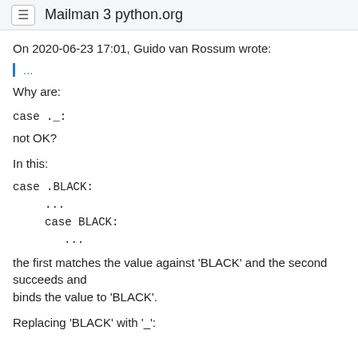≡ Mailman 3 python.org
On 2020-06-23 17:01, Guido van Rossum wrote:
...
Why are:
case ._:
not OK?
In this:
case .BLACK:
    ...
    case BLACK:
        ...
the first matches the value against 'BLACK' and the second succeeds and
binds the value to 'BLACK'.
Replacing 'BLACK' with '_':